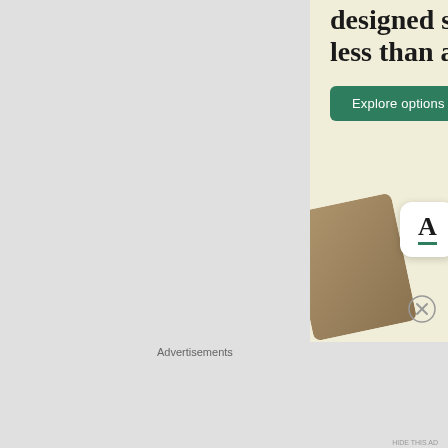[Figure (infographic): Advertisement banner with cream/beige background showing text 'Professionally designed sites in less than a week' with a green 'Explore options' button and app mockup screenshots below including a white app icon with letter A underlined in green]
Advertisements
[Figure (infographic): DuckDuckGo advertisement on orange-red background. Left side text: 'Search, browse, and email with more privacy.' with white pill button 'All in One Free App'. Right side shows smartphone mockup with DuckDuckGo logo and text 'DuckDuckGo.']